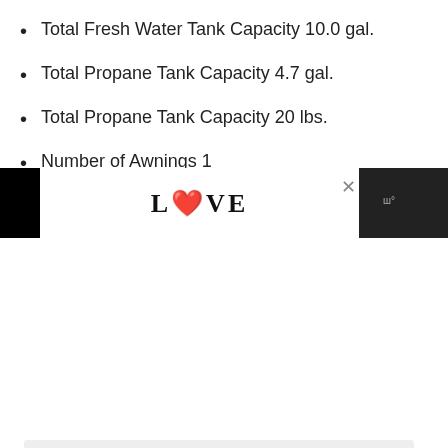Total Fresh Water Tank Capacity 10.0 gal.
Total Propane Tank Capacity 4.7 gal.
Total Propane Tank Capacity 20 lbs.
Number of Awnings 1
Awning Length 120 in.
[Figure (other): Gray image carousel placeholder box with three navigation dots below it, and floating action buttons (heart/like, count=3, share) on the right side.]
[Figure (other): Bottom advertisement strip showing decorative LOVE text artwork in black and white with a red heart detail, close button, and a dark right block with small text.]